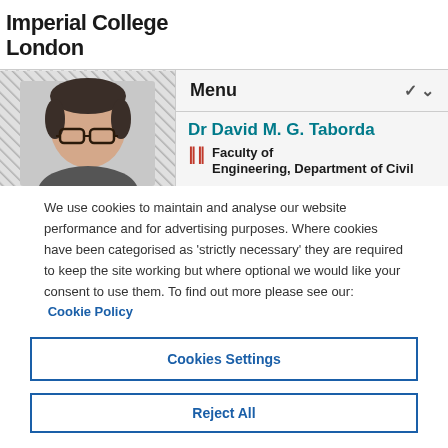Imperial College London
[Figure (screenshot): Screenshot of Imperial College London website showing a navigation bar with 'Menu' label and chevron, a photo of Dr David M. G. Taborda (male with glasses), and department info showing Faculty of Engineering, Department of Civil]
We use cookies to maintain and analyse our website performance and for advertising purposes. Where cookies have been categorised as 'strictly necessary' they are required to keep the site working but where optional we would like your consent to use them. To find out more please see our: Cookie Policy
Cookies Settings
Reject All